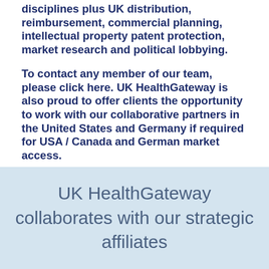disciplines plus UK distribution, reimbursement, commercial planning, intellectual property patent protection, market research and political lobbying.
To contact any member of our team, please click here. UK HealthGateway is also proud to offer clients the opportunity to work with our collaborative partners in the United States and Germany if required for USA / Canada and German market access.
UK HealthGateway collaborates with our strategic affiliates